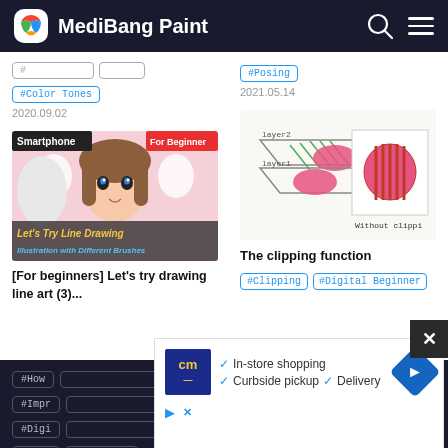MediBang Paint
#Color Tones
2020.09.02
#Posing
2021.05.14
[Figure (illustration): Anime-style girl illustration with text overlay: Let's Try Line Drawing - Illustration with Different Brushes. Labels: Smartphone, For Beginner]
[For beginners] Let's try drawing line art (3)...
[Figure (illustration): Clipping function diagram showing layers (layer1, layer2) with pink circles and text 'Without clippi']
The clipping function
#Clipping
#Digital Beginner
#How
#ency
#Impr
#Digi
#Tips